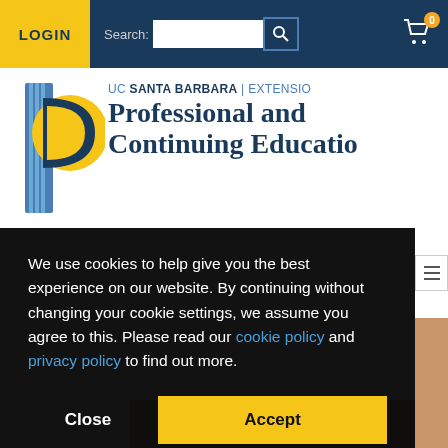LOGIN | Search: [search box] [cart 0]
[Figure (logo): UC Santa Barbara Extension logo with stylized P letterform in blue and gold]
UC SANTA BARBARA | EXTENSION Professional and Continuing Education
We use cookies to help give you the best experience on our website. By continuing without changing your cookie settings, we assume you agree to this. Please read our cookie policy and privacy policy to find out more.
Close | Accept